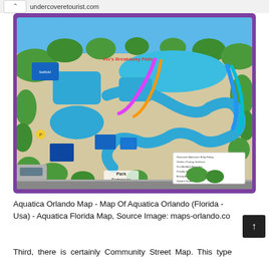undercoveretourist.com
[Figure (map): Illustrated theme park map of Aquatica Orlando water park, showing attractions, slides, lazy rivers, pools, pathways, park entrance, SeaWorld branding, and a legend. The map has a purple border and shows the full park layout from an aerial perspective.]
Aquatica Orlando Map - Map Of Aquatica Orlando (Florida - Usa) - Aquatica Florida Map, Source Image: maps-orlando.co
Third, there is certainly Community Street Map. This type